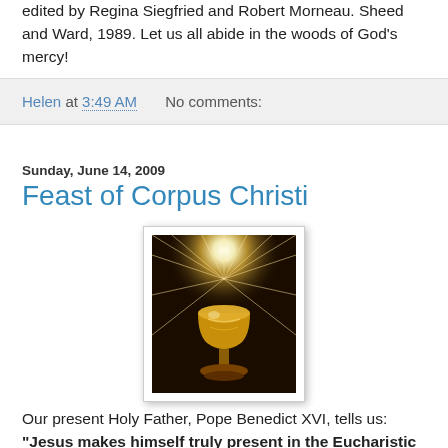edited by Regina Siegfried and Robert Morneau. Sheed and Ward, 1989. Let us all abide in the woods of God's mercy!
Helen at 3:49 AM    No comments:
Sunday, June 14, 2009
Feast of Corpus Christi
[Figure (photo): A golden chalice/monstrance with radiant light rays emanating from the center, on a dark background, displayed with a white border and light shadow frame.]
Our present Holy Father, Pope Benedict XVI, tells us:
"Jesus makes himself truly present in the Eucharistic Mystery, which is renewed on every altar. His is a dynamic presence that takes hold of us to make us his